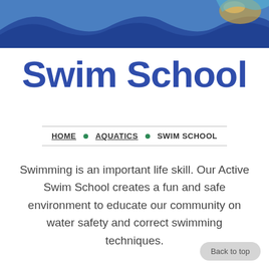[Figure (illustration): Wave-shaped decorative header banner with blue rippling waves and a swimmer visible in the upper right corner, against a blue water background.]
Swim School
HOME • AQUATICS • SWIM SCHOOL
Swimming is an important life skill. Our Active Swim School creates a fun and safe environment to educate our community on water safety and correct swimming techniques.